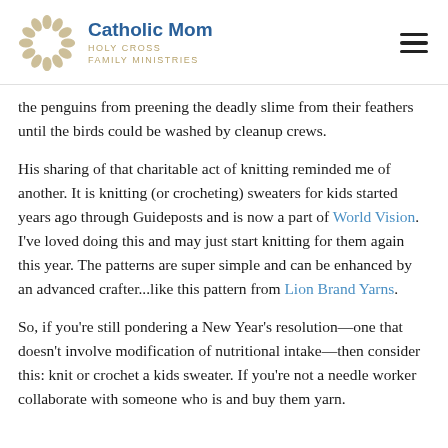Catholic Mom — Holy Cross Family Ministries
the penguins from preening the deadly slime from their feathers until the birds could be washed by cleanup crews.
His sharing of that charitable act of knitting reminded me of another. It is knitting (or crocheting) sweaters for kids started years ago through Guideposts and is now a part of World Vision. I've loved doing this and may just start knitting for them again this year. The patterns are super simple and can be enhanced by an advanced crafter...like this pattern from Lion Brand Yarns.
So, if you're still pondering a New Year's resolution—one that doesn't involve modification of nutritional intake—then consider this: knit or crochet a kids sweater. If you're not a needle worker collaborate with someone who is and buy them yarn.